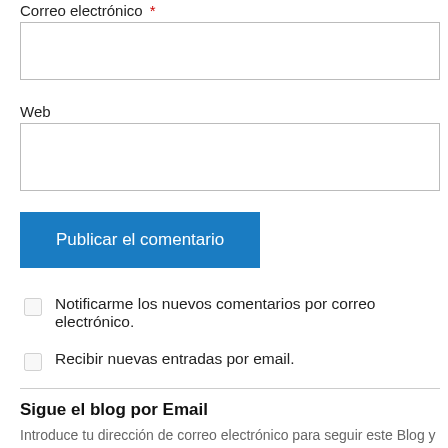Correo electrónico *
Web
Publicar el comentario
Notificarme los nuevos comentarios por correo electrónico.
Recibir nuevas entradas por email.
Sigue el blog por Email
Introduce tu dirección de correo electrónico para seguir este Blog y